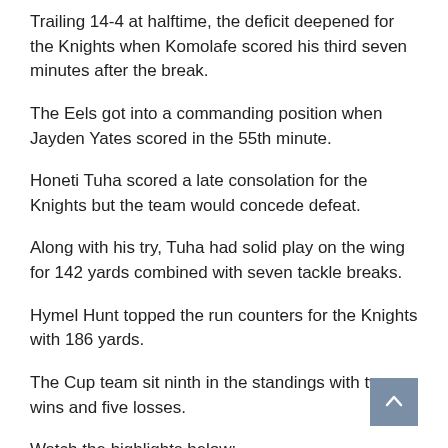Trailing 14-4 at halftime, the deficit deepened for the Knights when Komolafe scored his third seven minutes after the break.
The Eels got into a commanding position when Jayden Yates scored in the 55th minute.
Honeti Tuha scored a late consolation for the Knights but the team would concede defeat.
Along with his try, Tuha had solid play on the wing for 142 yards combined with seven tackle breaks.
Hymel Hunt topped the run counters for the Knights with 186 yards.
The Cup team sit ninth in the standings with two wins and five losses.
Watch the highlights below: